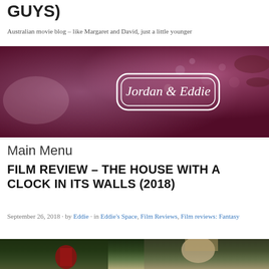GUYS)
Australian movie blog – like Margaret and David, just a little younger
[Figure (photo): Banner image with pink/red toned background showing hands, with an ornate double-bordered rounded rectangle containing the cursive text 'Jordan & Eddie']
Main Menu
FILM REVIEW – THE HOUSE WITH A CLOCK IN ITS WALLS (2018)
September 26, 2018 · by Eddie · in Eddie's Space, Film Reviews, Film reviews: Fantasy
[Figure (photo): Bottom portion of a movie still showing a dark green outdoor scene with a figure in red on the left and a blonde woman on the right side]